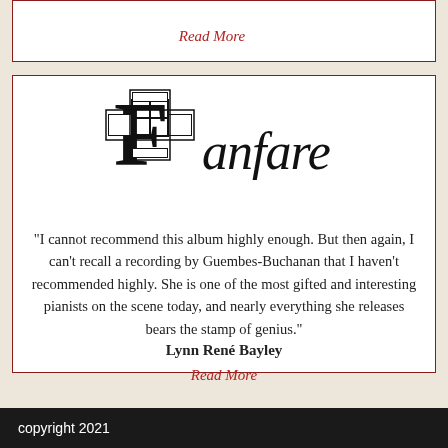Read More
[Figure (logo): Fanfare magazine logo with ornate cross/monogram and the word 'fanfare' in stylized text]
“I cannot recommend this album highly enough. But then again, I can’t recall a recording by Guembes-Buchanan that I haven’t recommended highly. She is one of the most gifted and interesting pianists on the scene today, and nearly everything she releases bears the stamp of genius.”
Lynn René Bayley
Read More
copyright 2021